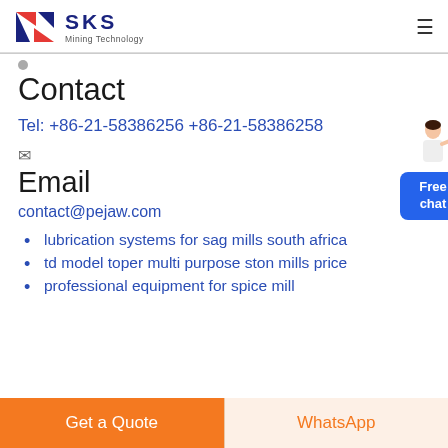SKS Mining Technology
Contact
Tel: +86-21-58386256 +86-21-58386258
Email
contact@pejaw.com
lubrication systems for sag mills south africa
td model toper multi purpose ston mills price
professional equipment for spice mill